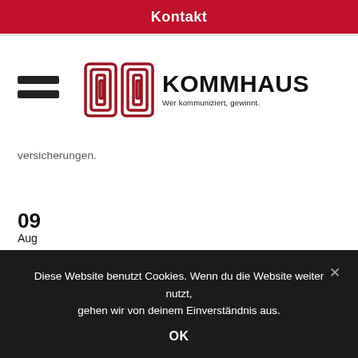Kontakt
[Figure (logo): KOMMHAUS logo with two square spiral symbols and tagline 'Wer kommuniziert, gewinnt.']
versicherungen.
09
Aug
Diese Website benutzt Cookies. Wenn du die Website weiter nutzt, gehen wir von deinem Einverständnis aus.
OK